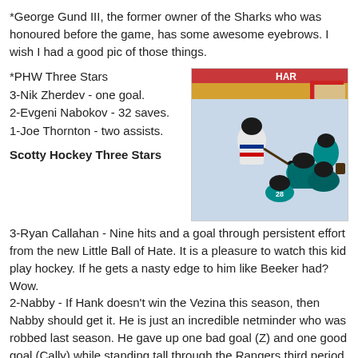*George Gund III, the former owner of the Sharks who was honoured before the game, has some awesome eyebrows. I wish I had a good pic of those things.
*PHW Three Stars
3-Nik Zherdev - one goal.
2-Evgeni Nabokov - 32 saves.
1-Joe Thornton - two assists.
[Figure (photo): Ice hockey game action photo showing players from the Rangers (white/red jerseys) and San Jose Sharks (teal jerseys) near the goal crease]
Scotty Hockey Three Stars
3-Ryan Callahan - Nine hits and a goal through persistent effort from the new Little Ball of Hate. It is a pleasure to watch this kid play hockey. If he gets a nasty edge to him like Beeker had? Wow.
2-Nabby - If Hank doesn't win the Vezina this season, then Nabby should get it. He is just an incredible netminder who was robbed last season. He gave up one bad goal (Z) and one good goal (Cally) while standing tall through the Rangers third period blitz.
1-Dan Boyle - He is everything for the Sharks that Wade Redden hasn't been for the Rangers: a true game-breaking